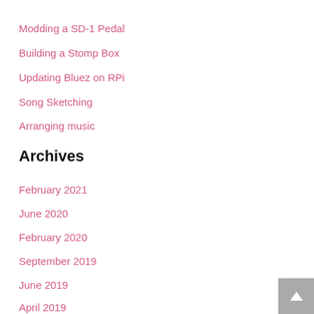Modding a SD-1 Pedal
Building a Stomp Box
Updating Bluez on RPi
Song Sketching
Arranging music
Archives
February 2021
June 2020
February 2020
September 2019
June 2019
April 2019
March 2019